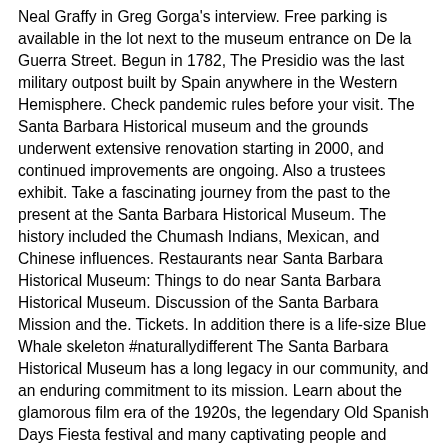Neal Graffy in Greg Gorga's interview. Free parking is available in the lot next to the museum entrance on De la Guerra Street. Begun in 1782, The Presidio was the last military outpost built by Spain anywhere in the Western Hemisphere. Check pandemic rules before your visit. The Santa Barbara Historical museum and the grounds underwent extensive renovation starting in 2000, and continued improvements are ongoing. Also a trustees exhibit. Take a fascinating journey from the past to the present at the Santa Barbara Historical Museum. The history included the Chumash Indians, Mexican, and Chinese influences. Restaurants near Santa Barbara Historical Museum: Things to do near Santa Barbara Historical Museum. Discussion of the Santa Barbara Mission and the. Tickets. In addition there is a life-size Blue Whale skeleton #naturallydifferent The Santa Barbara Historical Museum has a long legacy in our community, and an enduring commitment to its mission. Learn about the glamorous film era of the 1920s, the legendary Old Spanish Days Fiesta festival and many captivating people and events that shaped Santa Barbara into the modern-day American Riviera. This self-guided audio tour stretches between San Francisco and Los Angeles, one of the most beautiful coastlines in the world! The Museum interprets over 500 yrs of Santa Barbara history. The Santa Barbara Historical Museum also offers tours of the grand Victorian Fernald Mansion, once the home of Judge Charles Fernald, one of Santa Barbara's most well-known residents. This cultural landmark is located in the heart of Santa Barbara's historic district. SB Museum features exhibit halls